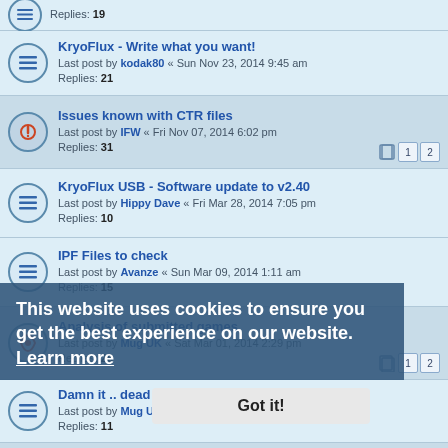Replies: 19
KryoFlux - Write what you want!
Last post by kodak80 « Sun Nov 23, 2014 9:45 am
Replies: 21
Issues known with CTR files
Last post by IFW « Fri Nov 07, 2014 6:02 pm
Replies: 31
KryoFlux USB - Software update to v2.40
Last post by Hippy Dave « Fri Mar 28, 2014 7:05 pm
Replies: 10
IPF Files to check
Last post by Avanze « Sun Mar 09, 2014 1:11 am
Replies: 15
Analysis of submitted games
Last post by Mug UK « Sat Mar 01, 2014 2:29 pm
Replies: 26
Damn it .. dead PSU (now working!)
Last post by Mug UK « Mon Feb 24, 2014 9:49 pm
Replies: 11
Last post by IFW « Mon Jan 06, 2014 11:08 pm
Replies: 25
Kryoflux in ST emulators?
Last post by ripomarede « Mon May 27, 2013 11:30 am
Replies: 33
This website uses cookies to ensure you get the best experience on our website. Learn more
Got it!